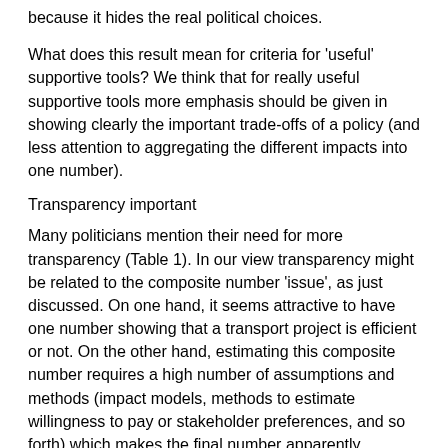because it hides the real political choices.
What does this result mean for criteria for 'useful' supportive tools? We think that for really useful supportive tools more emphasis should be given in showing clearly the important trade-offs of a policy (and less attention to aggregating the different impacts into one number).
Transparency important
Many politicians mention their need for more transparency (Table 1). In our view transparency might be related to the composite number 'issue', as just discussed. On one hand, it seems attractive to have one number showing that a transport project is efficient or not. On the other hand, estimating this composite number requires a high number of assumptions and methods (impact models, methods to estimate willingness to pay or stakeholder preferences, and so forth) which makes the final number apparently opaque. Thus, a criterion for a transparent supportive tool could be to choose a less ambitious approach as already suggested in the